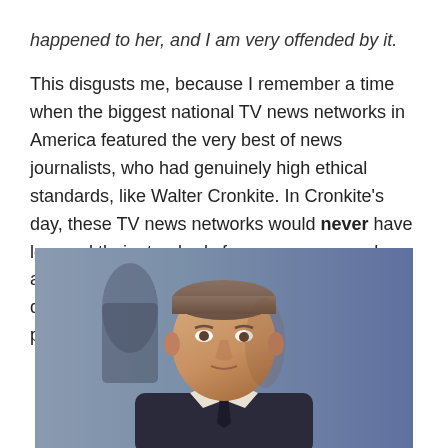happened to her, and I am very offended by it.
This disgusts me, because I remember a time when the biggest national TV news networks in America featured the very best of news journalists, who had genuinely high ethical standards, like Walter Cronkite. In Cronkite's day, these TV news networks would never have lowered their standards for news coverage by abusing their air time by spreading around disgustingly parasitic paparazzi stories like the photographic sexual assault on Kate Middleton.
[Figure (photo): Black and white / color photo of a middle-aged man in a suit, looking slightly upward to the right, with a shadowy background — appears to be Walter Cronkite in a news studio setting.]